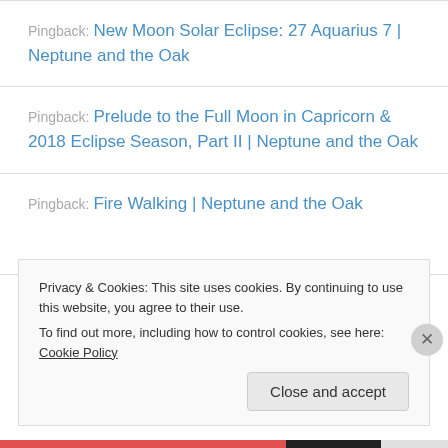Pingback: New Moon Solar Eclipse: 27 Aquarius 7 | Neptune and the Oak
Pingback: Prelude to the Full Moon in Capricorn & 2018 Eclipse Season, Part II | Neptune and the Oak
Pingback: Fire Walking | Neptune and the Oak
Privacy & Cookies: This site uses cookies. By continuing to use this website, you agree to their use.
To find out more, including how to control cookies, see here: Cookie Policy